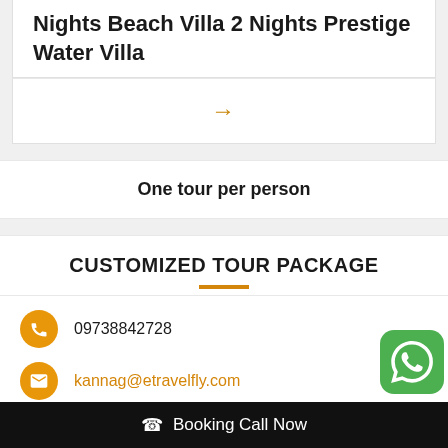Nights Beach Villa 2 Nights Prestige Water Villa
→
One tour per person
CUSTOMIZED TOUR PACKAGE
09738842728
kannag@etravelfly.com
Booking Call Now